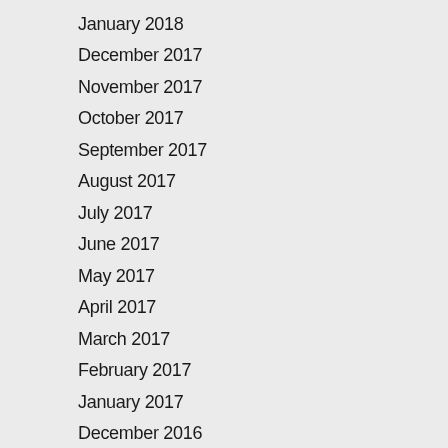January 2018
December 2017
November 2017
October 2017
September 2017
August 2017
July 2017
June 2017
May 2017
April 2017
March 2017
February 2017
January 2017
December 2016
November 2016
October 2016
September 2016
August 2016